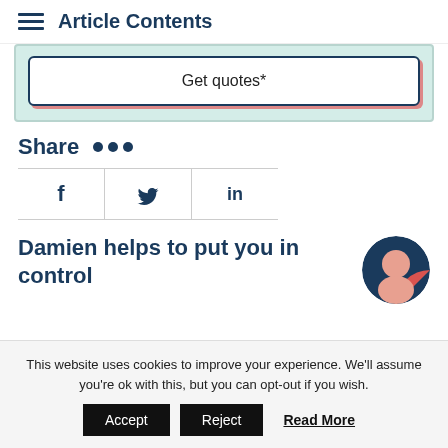Article Contents
Get quotes*
Share
[Figure (other): Social share icons: Facebook (f), Twitter (bird), LinkedIn (in)]
Damien helps to put you in control
[Figure (photo): Circular avatar photo of Damien with navy and coral background]
This website uses cookies to improve your experience. We'll assume you're ok with this, but you can opt-out if you wish.
Accept  Reject  Read More